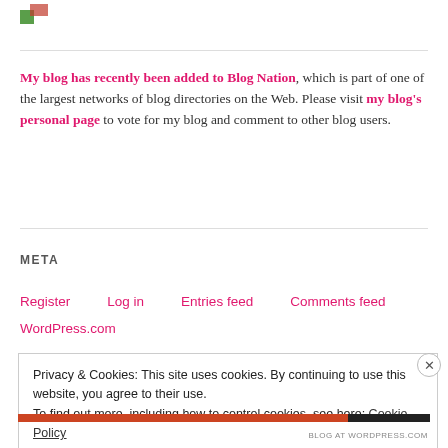[Figure (logo): Small green and red logo/icon in top left corner]
My blog has recently been added to Blog Nation, which is part of one of the largest networks of blog directories on the Web. Please visit my blog's personal page to vote for my blog and comment to other blog users.
META
Register
Log in
Entries feed
Comments feed
WordPress.com
Privacy & Cookies: This site uses cookies. By continuing to use this website, you agree to their use.
To find out more, including how to control cookies, see here: Cookie Policy
Close and accept